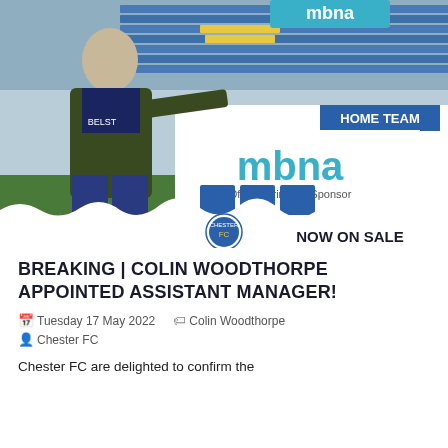[Figure (photo): Man in dark jacket standing in front of dugout at Chester FC stadium. Blue seats visible in background. MBNA sponsor signage and HOME TEAM dugout sign visible. Chester FC logo at bottom.]
BREAKING | COLIN WOODTHORPE APPOINTED ASSISTANT MANAGER!
Tuesday 17 May 2022   Colin Woodthorpe   Chester FC
Chester FC are delighted to confirm the